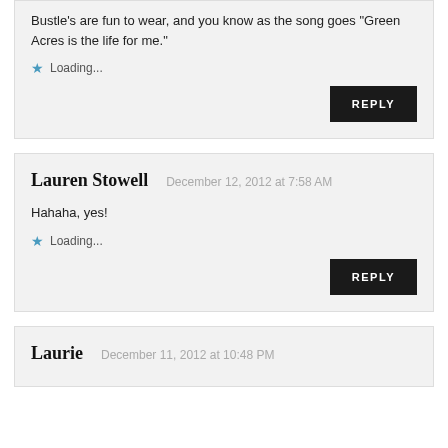Bustle's are fun to wear, and you know as the song goes "Green Acres is the life for me."
Loading...
REPLY
Lauren Stowell
December 12, 2012 at 7:58 AM
Hahaha, yes!
Loading...
REPLY
Laurie
December 11, 2012 at 10:48 PM